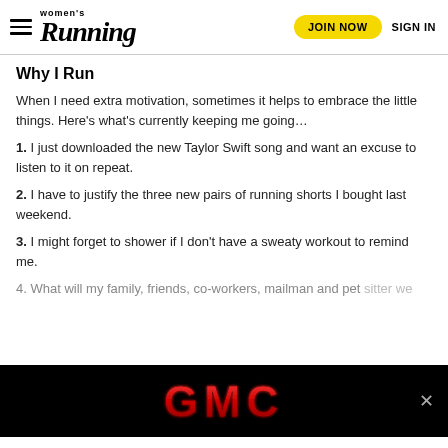Women's Running — JOIN NOW | SIGN IN
Why I Run
When I need extra motivation, sometimes it helps to embrace the little things. Here's what's currently keeping me going…
1. I just downloaded the new Taylor Swift song and want an excuse to listen to it on repeat.
2. I have to justify the three new pairs of running shorts I bought last weekend.
3. I might forget to shower if I don't have a sweaty workout to remind me.
4. What will my family, friends, co-workers, mailman and pet sitter we…
[Figure (logo): GMC advertisement banner with red GMC logo on black background]